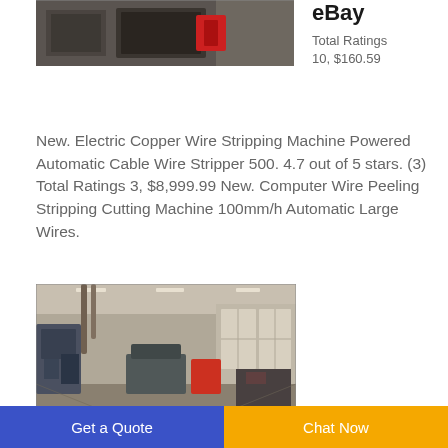[Figure (photo): Product photo of an electric copper wire stripping machine with a red component, dark industrial background]
eBay
Total Ratings 10, $160.59
New. Electric Copper Wire Stripping Machine Powered Automatic Cable Wire Stripper 500. 4.7 out of 5 stars. (3) Total Ratings 3, $8,999.99 New. Computer Wire Peeling Stripping Cutting Machine 100mm/h Automatic Large Wires.
[Figure (photo): Interior of a large industrial warehouse or factory with heavy machinery, pipes, overhead lighting, and a wide open floor space]
Get a Quote
Chat Now